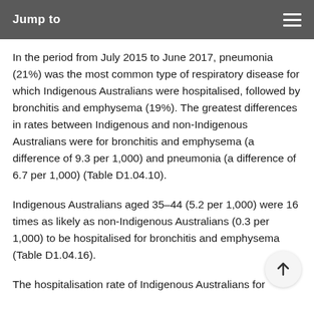Jump to
In the period from July 2015 to June 2017, pneumonia (21%) was the most common type of respiratory disease for which Indigenous Australians were hospitalised, followed by bronchitis and emphysema (19%). The greatest differences in rates between Indigenous and non-Indigenous Australians were for bronchitis and emphysema (a difference of 9.3 per 1,000) and pneumonia (a difference of 6.7 per 1,000) (Table D1.04.10).
Indigenous Australians aged 35–44 (5.2 per 1,000) were 16 times as likely as non-Indigenous Australians (0.3 per 1,000) to be hospitalised for bronchitis and emphysema (Table D1.04.16).
The hospitalisation rate of Indigenous Australians for